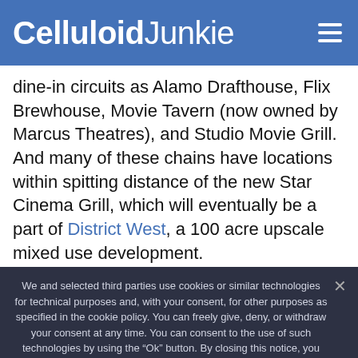Celluloid Junkie
dine-in circuits as Alamo Drafthouse, Flix Brewhouse, Movie Tavern (now owned by Marcus Theatres), and Studio Movie Grill. And many of these chains have locations within spitting distance of the new Star Cinema Grill, which will eventually be a part of District West, a 100 acre upscale mixed use development.
The only Alamo Drafthouse in Houston is just one
We and selected third parties use cookies or similar technologies for technical purposes and, with your consent, for other purposes as specified in the cookie policy. You can freely give, deny, or withdraw your consent at any time. You can consent to the use of such technologies by using the “Ok” button. By closing this notice, you continue without accepting.